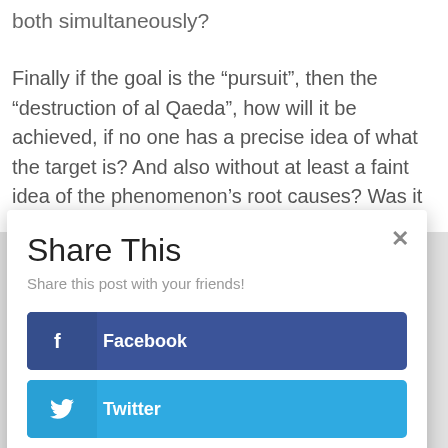both simultaneously?
Finally if the goal is the “pursuit”, then the “destruction of al Qaeda”, how will it be achieved, if no one has a precise idea of what the target is? And also without at least a faint idea of the phenomenon’s root causes? Was it possible to eradicate malaria without clearly understanding the links between some type of swamps
Share This
Share this post with your friends!
Facebook
Twitter
LinkedIn